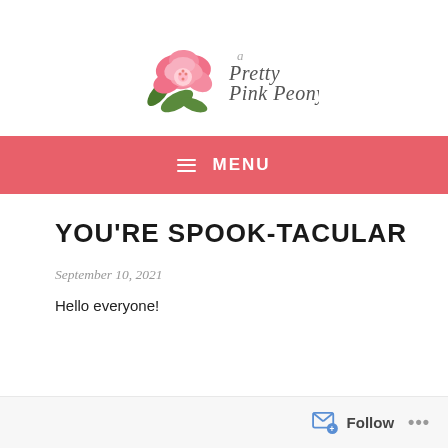[Figure (logo): A Pretty Pink Peony blog logo with a pink peony flower and decorative script text reading 'a Pretty Pink Peony']
≡ MENU
YOU'RE SPOOK-TACULAR
September 10, 2021
Hello everyone!
Follow ...